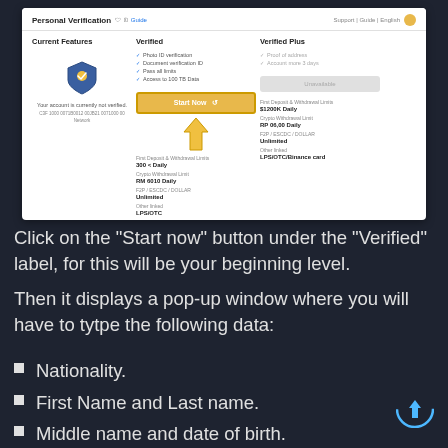[Figure (screenshot): Screenshot of a Personal Verification page showing three columns: Current Features (with shield icon and account text), Verified (with feature list and a highlighted yellow 'Start Now' button with a yellow arrow pointing up), and Verified Plus (with feature list and a grayed-out button). Each column shows deposit limits and crypto withdrawal limits.]
Click on the "Start now" button under the "Verified" label, for this will be your beginning level.
Then it displays a pop-up window where you will have to tytpe the following data:
Nationality.
First Name and Last name.
Middle name and date of birth.